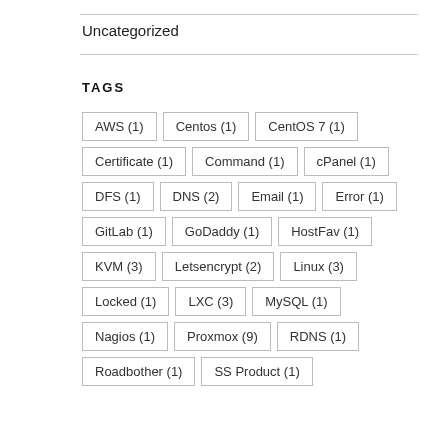Uncategorized
TAGS
AWS (1)
Centos (1)
CentOS 7 (1)
Certificate (1)
Command (1)
cPanel (1)
DFS (1)
DNS (2)
Email (1)
Error (1)
GitLab (1)
GoDaddy (1)
HostFav (1)
KVM (3)
Letsencrypt (2)
Linux (3)
Locked (1)
LXC (3)
MySQL (1)
Nagios (1)
Proxmox (9)
RDNS (1)
Roadbother (1)
SS Product (1)